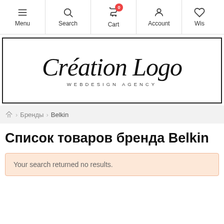Menu | Search | Cart | Account | Wis
[Figure (logo): Création Logo — Webdesign Agency logo in cursive script with bordered box]
🏠 > Бренды > Belkin
Список товаров бренда Belkin
Your search returned no results.